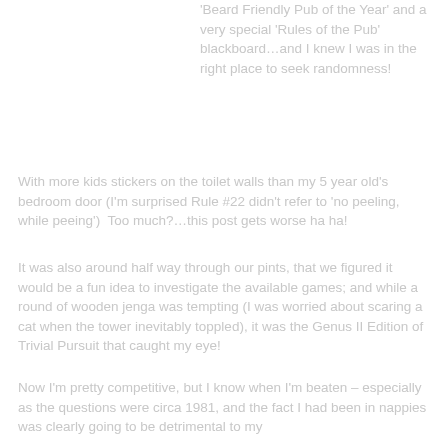'Beard Friendly Pub of the Year' and a very special 'Rules of the Pub' blackboard…and I knew I was in the right place to seek randomness!
With more kids stickers on the toilet walls than my 5 year old's bedroom door (I'm surprised Rule #22 didn't refer to 'no peeling, while peeing')  Too much?…this post gets worse ha ha!
It was also around half way through our pints, that we figured it would be a fun idea to investigate the available games; and while a round of wooden jenga was tempting (I was worried about scaring a cat when the tower inevitably toppled), it was the Genus II Edition of Trivial Pursuit that caught my eye!
Now I'm pretty competitive, but I know when I'm beaten – especially as the questions were circa 1981, and the fact I had been in nappies was clearly going to be detrimental to my